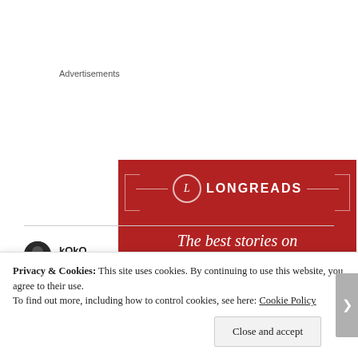Advertisements
[Figure (illustration): Longreads advertisement banner with red background, circular L logo, horizontal lines, and text 'The best stories on the web – ours, and']
kOkO
September 23, 2019 at 9:28 pm
Privacy & Cookies: This site uses cookies. By continuing to use this website, you agree to their use.
To find out more, including how to control cookies, see here: Cookie Policy
Close and accept